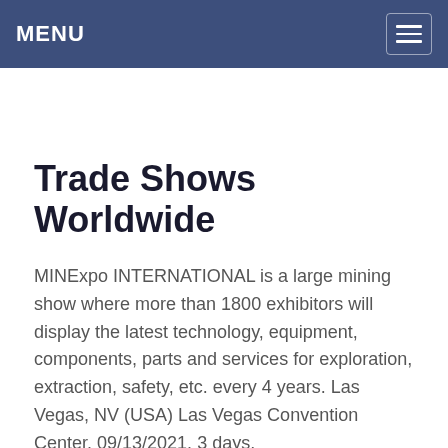MENU
Trade Shows Worldwide
MINExpo INTERNATIONAL is a large mining show where more than 1800 exhibitors will display the latest technology, equipment, components, parts and services for exploration, extraction, safety, etc. every 4 years. Las Vegas, NV (USA) Las Vegas Convention Center. 09/13/2021. 3 days.